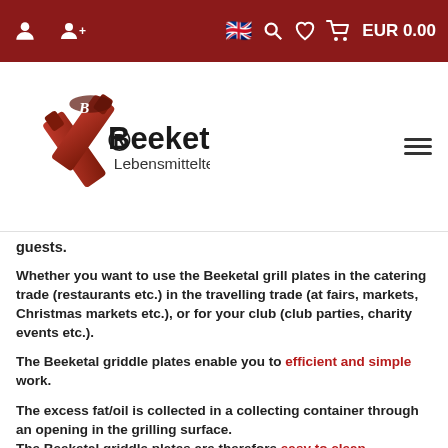EUR 0.00
[Figure (logo): Beeketal Lebensmitteltechnik logo with crossed knife/paddle icons in red/brown gradient]
guests.
Whether you want to use the Beeketal grill plates in the catering trade (restaurants etc.) in the travelling trade (at fairs, markets, Christmas markets etc.), or for your club (club parties, charity events etc.).
The Beeketal griddle plates enable you to efficient and simple work.
The excess fat/oil is collected in a collecting container through an opening in the grilling surface. The Beeketal griddle plates are therefore easy to clean.
The Beeketal griddle plates are affordable and the high possible throughput results in an economy that is second